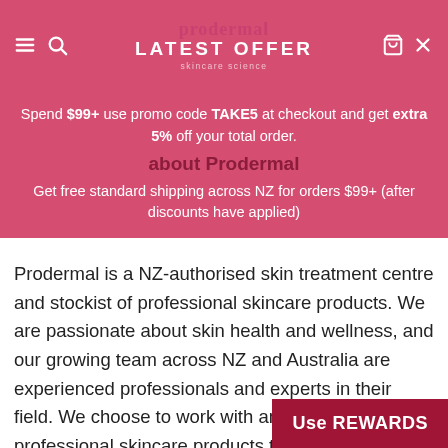LATEST OFFER — prodermal skincare science
Spend $99+ use promo code TAKE5 at checkout and get extra 5% off your total order.
about Prodermal
Get free standard shipping across NZ for orders $99+ (after discounts have applied)
Prodermal is a NZ-authorised skin treatment centre and stockist of professional skincare products. We are passionate about skin health and wellness, and our growing team across NZ and Australia are experienced professionals and experts in their field. We choose to work with and recommend professional skincare products that are designed and developed to deliver the best results for your skin. That is why we choose asap